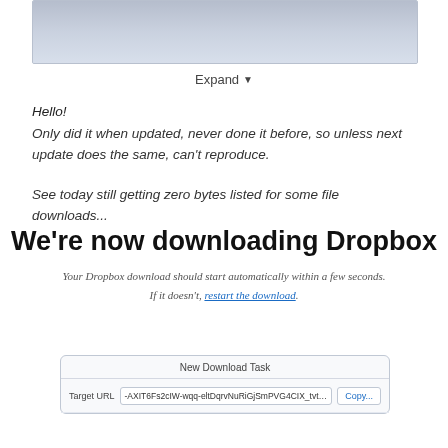[Figure (screenshot): Partial screenshot of a file listing table with blurred/darkened rows, shown at top of page]
Expand ▾
Hello!
Only did it when updated, never done it before, so unless next update does the same, can't reproduce.
See today still getting zero bytes listed for some file downloads...
We're now downloading Dropbox
Your Dropbox download should start automatically within a few seconds.
If it doesn't, restart the download.
[Figure (screenshot): New Download Task dialog box with Target URL field showing -AXIT6Fs2cIW-wqq-eltDqrvNuRiGjSmPVG4CIX_tvt_fOA and a Copy... button]